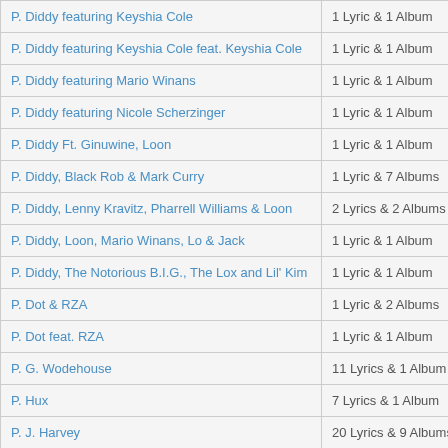| Artist | Content |
| --- | --- |
| P. Diddy featuring Keyshia Cole | 1 Lyric & 1 Album |
| P. Diddy featuring Keyshia Cole feat. Keyshia Cole | 1 Lyric & 1 Album |
| P. Diddy featuring Mario Winans | 1 Lyric & 1 Album |
| P. Diddy featuring Nicole Scherzinger | 1 Lyric & 1 Album |
| P. Diddy Ft. Ginuwine, Loon | 1 Lyric & 1 Album |
| P. Diddy, Black Rob & Mark Curry | 1 Lyric & 7 Albums |
| P. Diddy, Lenny Kravitz, Pharrell Williams & Loon | 2 Lyrics & 2 Albums |
| P. Diddy, Loon, Mario Winans, Lo & Jack | 1 Lyric & 1 Album |
| P. Diddy, The Notorious B.I.G., The Lox and Lil' Kim | 1 Lyric & 1 Album |
| P. Dot & RZA | 1 Lyric & 2 Albums |
| P. Dot feat. RZA | 1 Lyric & 1 Album |
| P. G. Wodehouse | 11 Lyrics & 1 Album |
| P. Hux | 7 Lyrics & 1 Album |
| P. J. Harvey | 20 Lyrics & 9 Albums |